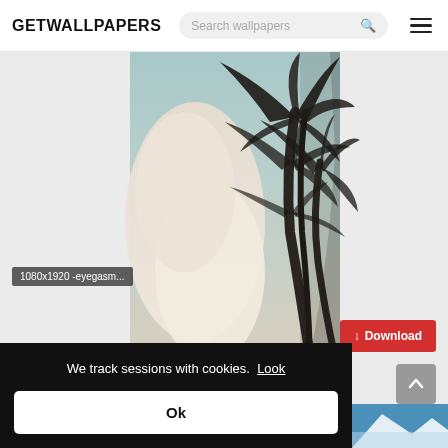GETWALLPAPERS
[Figure (screenshot): Website header with GETWALLPAPERS logo, search bar, and hamburger menu icon]
[Figure (photo): Vintage photo of palm trees against a pale blue sky with clouds]
1080x1920 -eyegasm...
We track sessions with cookies. Look
Ok
↓ Download